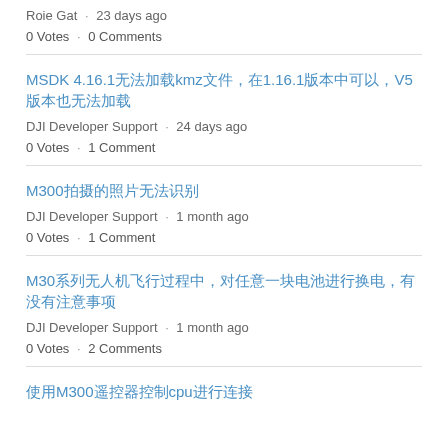Roie Gat · 23 days ago
0 Votes · 0 Comments
MSDK 4.16.1无法加载kmz文件，在1.16.1版本中可以，V5版本也无法加载
DJI Developer Support · 24 days ago
0 Votes · 1 Comment
M300拍摄的照片无法识别
DJI Developer Support · 1 month ago
0 Votes · 1 Comment
M30系列无人机飞行过程中，对任意一块电池进行换电，有没有注意事项
DJI Developer Support · 1 month ago
0 Votes · 2 Comments
使用M300遥控器控制cpu进行连接